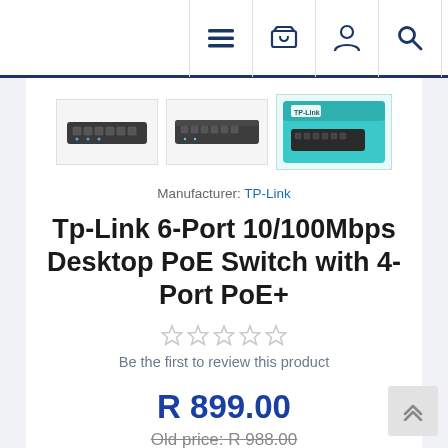Navigation bar with menu, basket, account, and search icons
[Figure (photo): Three product thumbnail images of the TP-Link 6-Port PoE Switch: front view (dark gray switch), angled view, and product box (teal/blue packaging)]
Manufacturer: TP-Link
Tp-Link 6-Port 10/100Mbps Desktop PoE Switch with 4-Port PoE+
Be the first to review this product
R 899.00
Old price: R 988.00